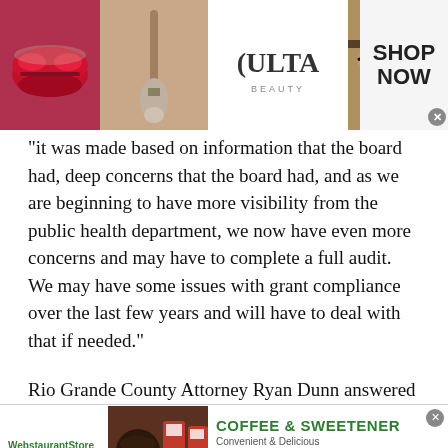[Figure (screenshot): Top advertisement banner for ULTA Beauty with makeup images including red lips, makeup brush, smoky eye, ULTA logo, and 'SHOP NOW' call to action]
"it was made based on information that the board had, deep concerns that the board had, and as we are beginning to have more visibility from the public health department, we now have even more concerns and may have to complete a full audit. We may have some issues with grant compliance over the last few years and will have to deal with that if needed."
Rio Grande County Attorney Ryan Dunn answered
[Figure (screenshot): Bottom advertisement banner for WebstaurantStore featuring Coffee & Sweetener with Folgers products and 'CODE: BREW' promotional code]